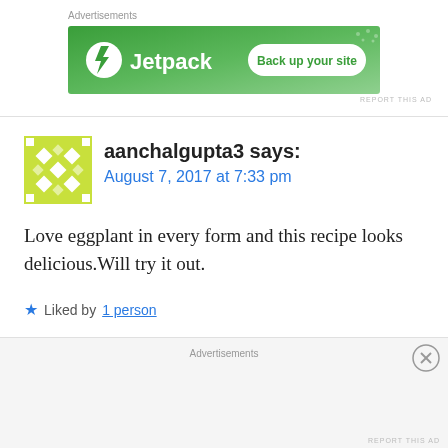Advertisements
[Figure (screenshot): Jetpack advertisement banner with green background, Jetpack logo on left, and 'Back up your site' button on right]
REPORT THIS AD
aanchalgupta3 says:
August 7, 2017 at 7:33 pm
Love eggplant in every form and this recipe looks delicious.Will try it out.
★ Liked by 1 person
REPLY
Advertisements
REPORT THIS AD